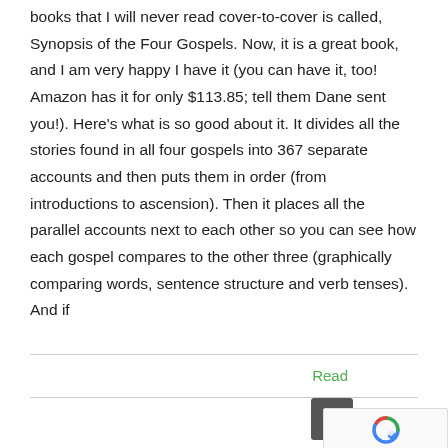books that I will never read cover-to-cover is called, Synopsis of the Four Gospels. Now, it is a great book, and I am very happy I have it (you can have it, too! Amazon has it for only $113.85; tell them Dane sent you!). Here's what is so good about it. It divides all the stories found in all four gospels into 367 separate accounts and then puts them in order (from introductions to ascension). Then it places all the parallel accounts next to each other so you can see how each gospel compares to the other three (graphically comparing words, sentence structure and verb tenses). And if
Read